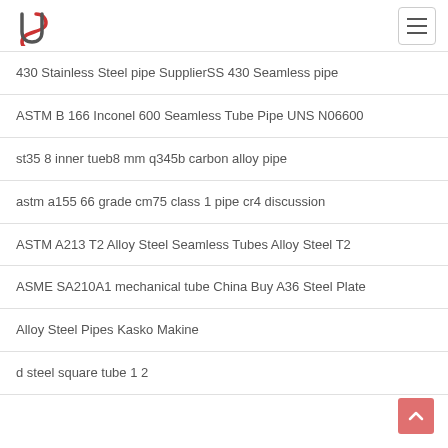Logo and navigation header
430 Stainless Steel pipe SupplierSS 430 Seamless pipe
ASTM B 166 Inconel 600 Seamless Tube Pipe UNS N06600
st35 8 inner tueb8 mm q345b carbon alloy pipe
astm a155 66 grade cm75 class 1 pipe cr4 discussion
ASTM A213 T2 Alloy Steel Seamless Tubes Alloy Steel T2
ASME SA210A1 mechanical tube China Buy A36 Steel Plate
Alloy Steel Pipes Kasko Makine
d steel square tube 1 2